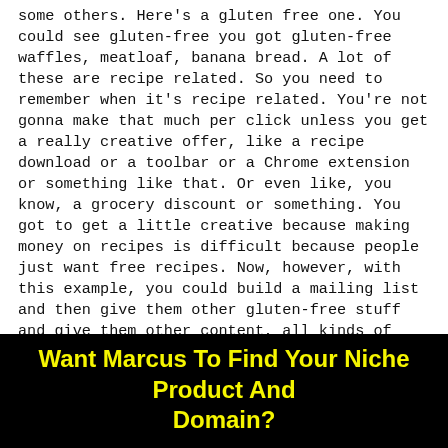some others. Here's a gluten free one. You could see gluten-free you got gluten-free waffles, meatloaf, banana bread. A lot of these are recipe related. So you need to remember when it's recipe related. You're not gonna make that much per click unless you get a really creative offer, like a recipe download or a toolbar or a Chrome extension or something like that. Or even like, you know, a grocery discount or something. You got to get a little creative because making money on recipes is difficult because people just want free recipes. Now, however, with this example, you could build a mailing list and then give them other gluten-free stuff and give them other content, all kinds of stuff around this.
Want Marcus To Find Your Niche Product And Domain?